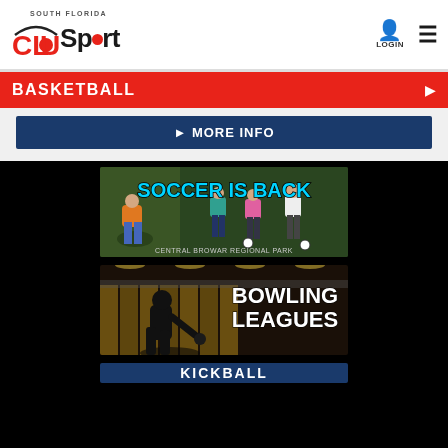[Figure (logo): South Florida ClubSport logo with red CLUB text, black Sport text, red ball replacing the O]
LOGIN
BASKETBALL
▶ MORE INFO
[Figure (photo): Soccer Is Back - women playing soccer at Central Broward Regional Park]
[Figure (photo): Bowling Leagues - person bowling at a bowling alley]
[Figure (photo): Kickball - partial image at bottom]